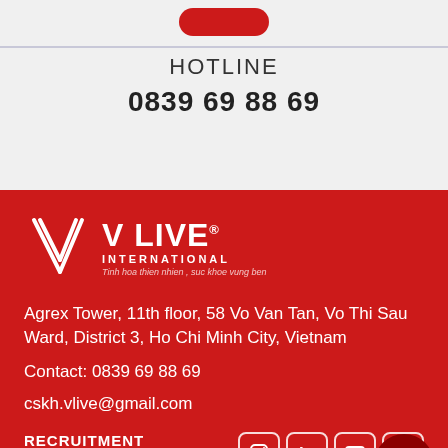[Figure (logo): Red rounded rectangle button (partially visible)]
HOTLINE
0839 69 88 69
[Figure (logo): V LIVE INTERNATIONAL logo in white on red background, with tagline 'Tinh hoa thien nhien, suc khoe vung ben']
Agrex Tower, 11th floor, 58 Vo Van Tan, Vo Thi Sau Ward, District 3, Ho Chi Minh City, Vietnam
Contact: 0839 69 88 69
cskh.vlive@gmail.com
RECRUITMENT
CONTACT
[Figure (other): Social media icons: Instagram, LinkedIn, YouTube, and more; plus Messenger chat button]